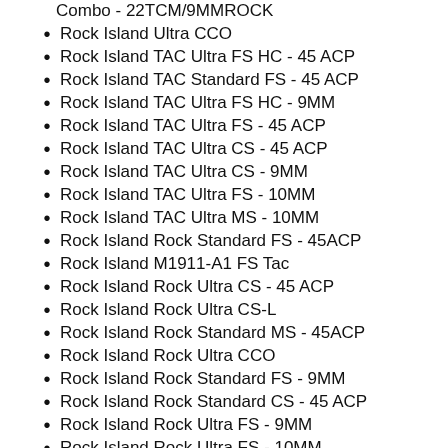Combo - 22TCM/9MMROCK
Rock Island Ultra CCO
Rock Island TAC Ultra FS HC - 45 ACP
Rock Island TAC Standard FS - 45 ACP
Rock Island TAC Ultra FS HC - 9MM
Rock Island TAC Ultra FS - 45 ACP
Rock Island TAC Ultra CS - 45 ACP
Rock Island TAC Ultra CS - 9MM
Rock Island TAC Ultra FS - 10MM
Rock Island TAC Ultra MS - 10MM
Rock Island Rock Standard FS - 45ACP
Rock Island M1911-A1 FS Tac
Rock Island Rock Ultra CS - 45 ACP
Rock Island Rock Ultra CS-L
Rock Island Rock Standard MS - 45ACP
Rock Island Rock Ultra CCO
Rock Island Rock Standard FS - 9MM
Rock Island Rock Standard CS - 45 ACP
Rock Island Rock Ultra FS - 9MM
Rock Island Rock Ultra FS - 10MM
Rock Island Rock Standard FS 2-TONE - 45 ACP
Rock Island Rock Ultra MS - 10MM